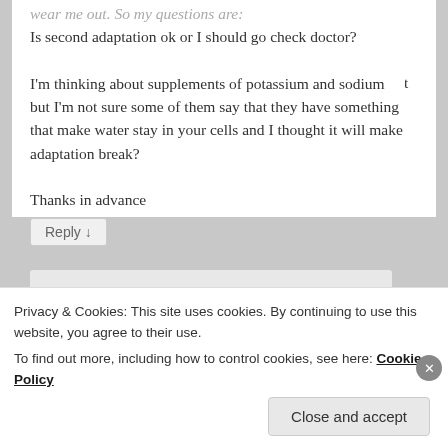Is second adaptation ok or I should go check doctor?
I'm thinking about supplements of potassium and sodium but I'm not sure some of them say that they have something that make water stay in your cells and I thought it will make adaptation break?
Thanks in advance
★ Like
Reply ↓
Privacy & Cookies: This site uses cookies. By continuing to use this website, you agree to their use.
To find out more, including how to control cookies, see here: Cookie Policy
Close and accept